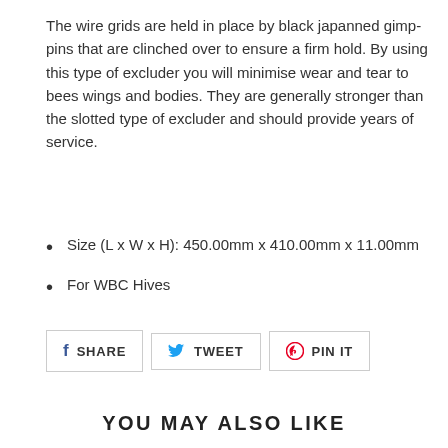The wire grids are held in place by black japanned gimp-pins that are clinched over to ensure a firm hold. By using this type of excluder you will minimise wear and tear to bees wings and bodies. They are generally stronger than the slotted type of excluder and should provide years of service.
Size (L x W x H): 450.00mm x 410.00mm x 11.00mm
For WBC Hives
SHARE   TWEET   PIN IT
YOU MAY ALSO LIKE